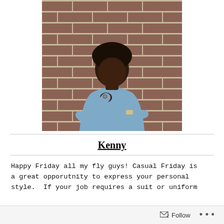[Figure (photo): A young man leaning against a brick wall, wearing a light blue shirt and a watch, posing with his hand near his chin.]
Kenny
Happy Friday all my fly guys! Casual Friday is a great opporutnity to express your personal style.  If your job requires a suit or uniform